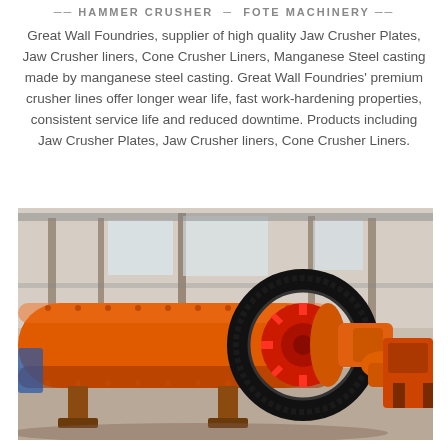HAMMER CRUSHER - FOTE MACHINERY
Great Wall Foundries, supplier of high quality Jaw Crusher Plates, Jaw Crusher liners, Cone Crusher Liners, Manganese Steel casting made by manganese steel casting. Great Wall Foundries' premium crusher lines offer longer wear life, fast work-hardening properties, consistent service life and reduced downtime. Products including Jaw Crusher Plates, Jaw Crusher liners, Cone Crusher Liners.
[Figure (photo): Large orange industrial ball mill machine with a prominent black gear ring, photographed inside a factory/warehouse building. The machine has a long cylindrical orange drum with a large red flywheel and gear assembly on one end.]